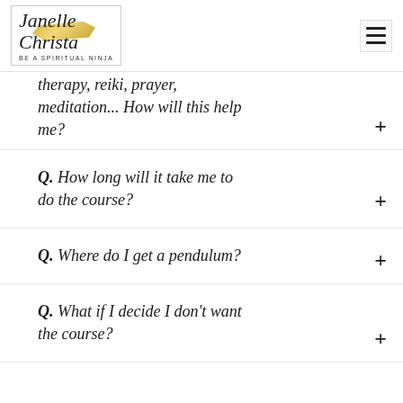Janelle Christa — BE A SPIRITUAL NINJA
therapy, reiki, prayer, meditation... How will this help me?
Q. How long will it take me to do the course?
Q. Where do I get a pendulum?
Q. What if I decide I don't want the course?